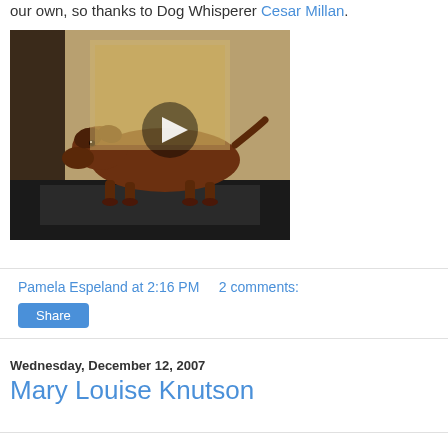our own, so thanks to Dog Whisperer Cesar Millan.
[Figure (screenshot): Video thumbnail showing a dachshund dog walking on a treadmill, with a play button overlay in the center. The background shows a room with beige walls.]
Pamela Espeland at 2:16 PM   2 comments:
[Figure (other): Share button]
Wednesday, December 12, 2007
Mary Louise Knutson